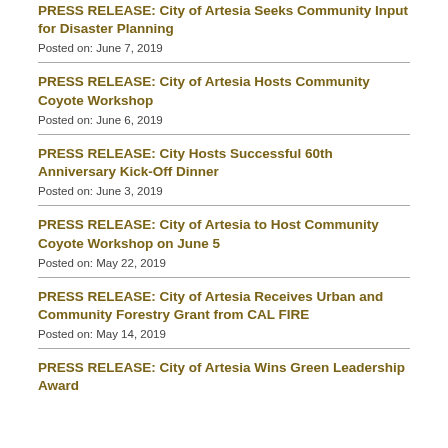PRESS RELEASE: City of Artesia Seeks Community Input for Disaster Planning
Posted on: June 7, 2019
PRESS RELEASE: City of Artesia Hosts Community Coyote Workshop
Posted on: June 6, 2019
PRESS RELEASE: City Hosts Successful 60th Anniversary Kick-Off Dinner
Posted on: June 3, 2019
PRESS RELEASE: City of Artesia to Host Community Coyote Workshop on June 5
Posted on: May 22, 2019
PRESS RELEASE: City of Artesia Receives Urban and Community Forestry Grant from CAL FIRE
Posted on: May 14, 2019
PRESS RELEASE: City of Artesia Wins Green Leadership Award